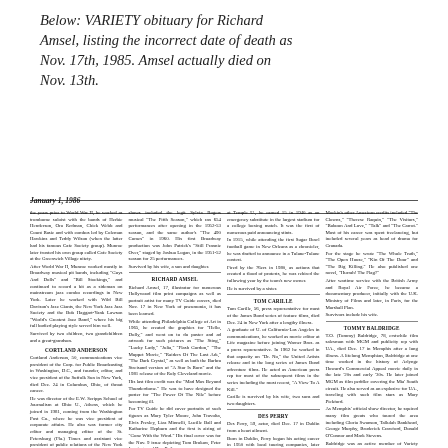Below: VARIETY obituary for Richard Amsel, listing the incorrect date of death as Nov. 17th, 1985. Amsel actually died on Nov. 13th.
January 1, 1986
Multi-column newspaper obituary text including entries for Richard Amsel, Cortland Anderson, George Kondolf, Dave Jinkoff, Tom Carille, Des Perry, Tommy Baldridge, Leo Maguire and others.